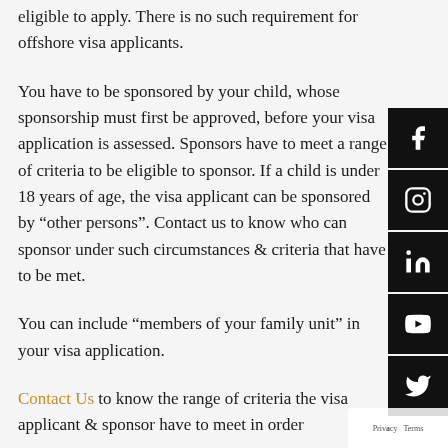eligible to apply. There is no such requirement for offshore visa applicants.
You have to be sponsored by your child, whose sponsorship must first be approved, before your visa application is assessed. Sponsors have to meet a range of criteria to be eligible to sponsor. If a child is under 18 years of age, the visa applicant can be sponsored by “other persons”. Contact us to know who can sponsor under such circumstances & criteria that have to be met.
You can include “members of your family unit” in your visa application.
Contact Us to know the range of criteria the visa applicant & sponsor have to meet in order